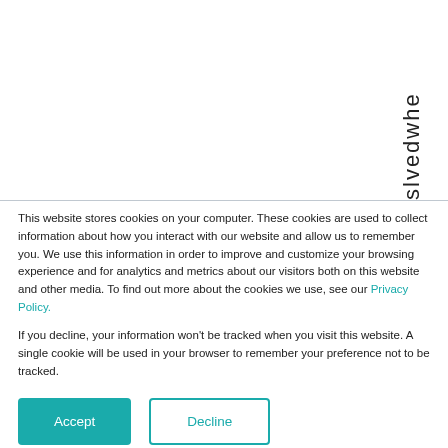s l v e d w h e
This website stores cookies on your computer. These cookies are used to collect information about how you interact with our website and allow us to remember you. We use this information in order to improve and customize your browsing experience and for analytics and metrics about our visitors both on this website and other media. To find out more about the cookies we use, see our Privacy Policy.
If you decline, your information won't be tracked when you visit this website. A single cookie will be used in your browser to remember your preference not to be tracked.